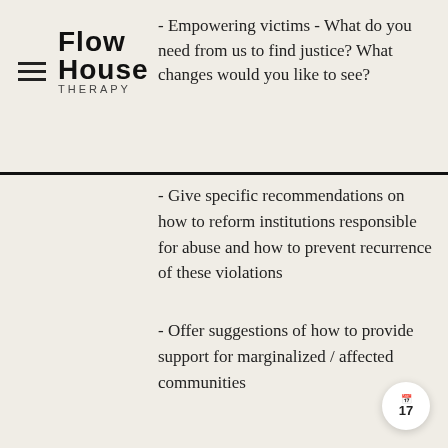[Figure (logo): Flow House Therapy logo with hamburger menu icon]
- Empowering victims - What do you need from us to find justice? What changes would you like to see?
- Give specific recommendations on how to reform institutions responsible for abuse and how to prevent recurrence of these violations
- Offer suggestions of how to provide support for marginalized / affected communities
I Like This, What Can the U.S. Do? What Can I Do?
- Learn from the Truth & Justice Commission of Mauritius (2009) which explored impact of slavery in that country. This commission was unique in that it dealt